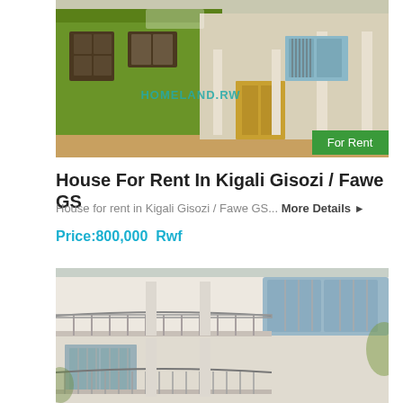[Figure (photo): Exterior photo of a house for rent in Kigali Gisozi / Fawe GS area, showing green and tan/orange colored walls with windows and a white columned entrance. A HOMELAND.RW watermark is visible and a green 'For Rent' badge in the bottom-right corner.]
House For Rent In Kigali Gisozi / Fawe GS
House for rent in Kigali Gisozi / Fawe GS...  More Details ▶
Price:800,000  Rwf
[Figure (photo): Exterior photo of a large white two-story house with balconies, iron railings, white columns, and large glass windows/bay windows.]